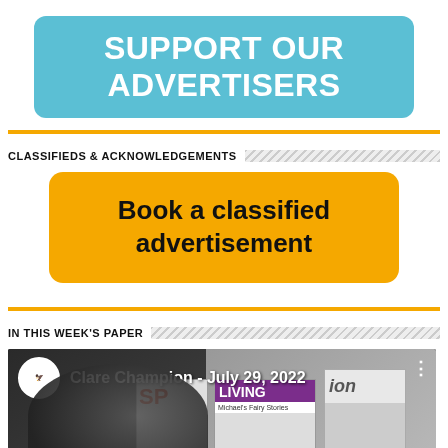[Figure (infographic): Teal/blue rounded rectangle banner with bold white uppercase text reading 'SUPPORT OUR ADVERTISERS']
CLASSIFIEDS & ACKNOWLEDGEMENTS
[Figure (infographic): Yellow rounded rectangle button with bold black text reading 'Book a classified advertisement']
IN THIS WEEK'S PAPER
[Figure (screenshot): Video thumbnail showing Clare Champion - July 29, 2022 with a man with glasses in foreground, magazine covers in background including LIVING and Sport sections, Clare Champion logo in top left circle]